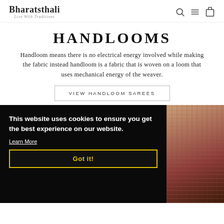Bharatsthali — Live With Traditions
HANDLOOMS
Handloom means there is no electrical energy involved while making the fabric instead handloom is a fabric that is woven on a loom that uses mechanical energy of the weaver.
VIEW HANDLOOM SAREES
This website uses cookies to ensure you get the best experience on our website. Learn More
Got it!
[Figure (photo): Partial product image visible on the right side of the cookie banner, showing colorful textile/saree and decorative background]